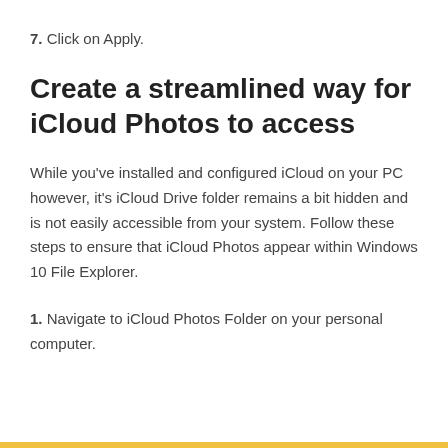7. Click on Apply.
Create a streamlined way for iCloud Photos to access
While you've installed and configured iCloud on your PC however, it's iCloud Drive folder remains a bit hidden and is not easily accessible from your system. Follow these steps to ensure that iCloud Photos appear within Windows 10 File Explorer.
1. Navigate to iCloud Photos Folder on your personal computer.